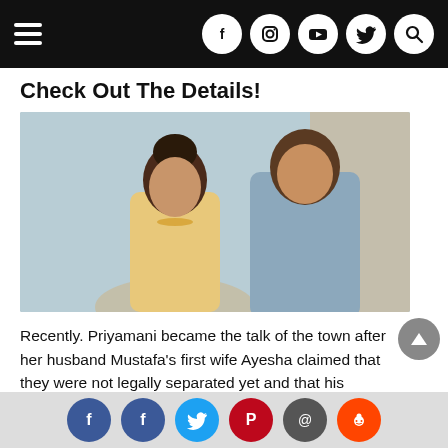Navigation bar with hamburger menu and social icons (Facebook, Instagram, YouTube, Twitter, Search)
Check Out The Details!
[Figure (photo): A couple in Indian traditional attire. A woman on the left wearing a yellow embroidered outfit with bridal jewelry and nose ring, and a man on the right wearing a grey embroidered sherwani, smiling.]
Recently. Priyamani became the talk of the town after her husband Mustafa's first wife Ayesha claimed that they were not legally separated yet and that his second marriage was invalid. Now, in an interview, Priyamani
Share icons: Facebook, Facebook, Twitter, Pinterest, Email, Reddit